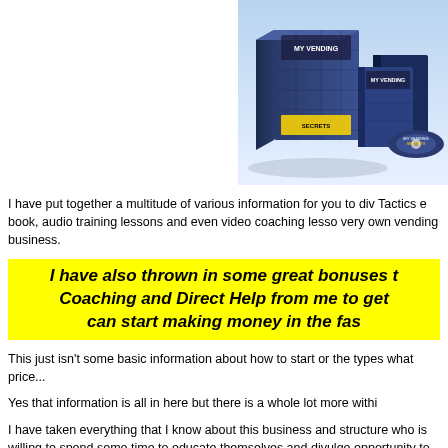[Figure (photo): Product box set showing books, CDs and DVDs related to a vending business course, positioned in upper right corner]
I have put together a multitude of various information for you to div Tactics e book, audio training lessons and even video coaching lesso very own vending business.
I have also thrown in some great bonuses t Coaching and Direct Help from me to get can start making money in the fas
This just isn't some basic information about how to start or the types what price...
Yes that information is all in here but there is a whole lot more withi
I have taken everything that I know about this business and structure who is willing to spend some time to educate themselves and divulge opportunity to create an income for themselves in their own local co
There is nothing like this out on the m